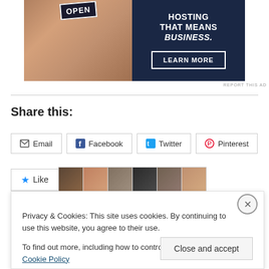[Figure (other): Advertisement banner with photo of person holding an OPEN sign on left, and dark navy background with text 'HOSTING THAT MEANS BUSINESS.' and 'LEARN MORE' button on right]
REPORT THIS AD
Share this:
Email  Facebook  Twitter  Pinterest
[Figure (other): Like button with star icon followed by user avatar thumbnails]
Privacy & Cookies: This site uses cookies. By continuing to use this website, you agree to their use.
To find out more, including how to control cookies, see here: Cookie Policy
Close and accept